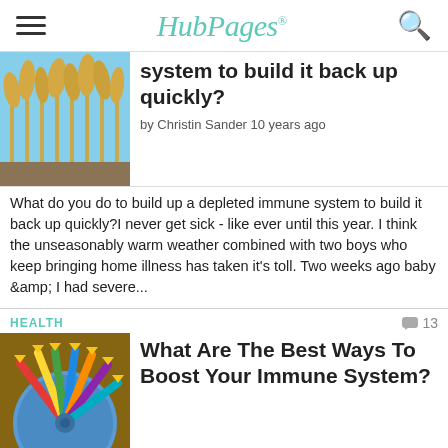HubPages
system to build it back up quickly?
by Christin Sander 10 years ago
What do you do to build up a depleted immune system to build it back up quickly?I never get sick - like ever until this year.  I think the unseasonably warm weather combined with two boys who keep bringing home illness has taken it's toll.  Two weeks ago baby &amp; I had severe...
HEALTH  13
What Are The Best Ways To Boost Your Immune System?
by PhoenixV 9 years ago
What Are The Best Ways To Boost Your Immune System?What Are The Best Ways To Boost Your Immune System?